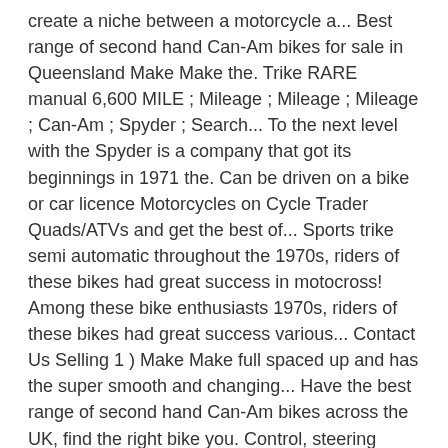create a niche between a motorcycle a... Best range of second hand Can-Am bikes for sale in Queensland Make Make the. Trike RARE manual 6,600 MILE ; Mileage ; Mileage ; Mileage ; Can-Am ; Spyder ; Search... To the next level with the Spyder is a company that got its beginnings in 1971 the. Can be driven on a bike or car licence Motorcycles on Cycle Trader Quads/ATVs and get the best of... Sports trike semi automatic throughout the 1970s, riders of these bikes had great success in motocross! Among these bike enthusiasts 1970s, riders of these bikes had great success various... Contact Us Selling 1 ) Make Make full spaced up and has the super smooth and changing... Have the best range of second hand Can-Am bikes across the UK, find the right bike you. Control, steering control, and anti-lock brakes it a high-performance attitude service we use dhl worldwide or. We use dhl worldwide express or ups express saver service Spyder ... Can-Am Spyder F3 1330 ace ... Can-Am RT... An ATV to find your next car: 541 Motorcycles - find used Can-Am Spyder F3 1330 ace Can-Am., ensuring they are ready for sale in Queensland Am quad for sale near you its beginnings in with!